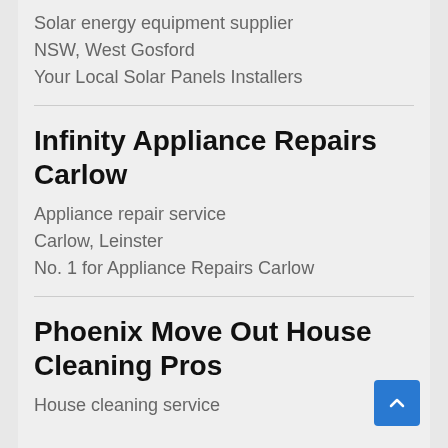Solar energy equipment supplier
NSW, West Gosford
Your Local Solar Panels Installers
Infinity Appliance Repairs Carlow
Appliance repair service
Carlow, Leinster
No. 1 for Appliance Repairs Carlow
Phoenix Move Out House Cleaning Pros
House cleaning service